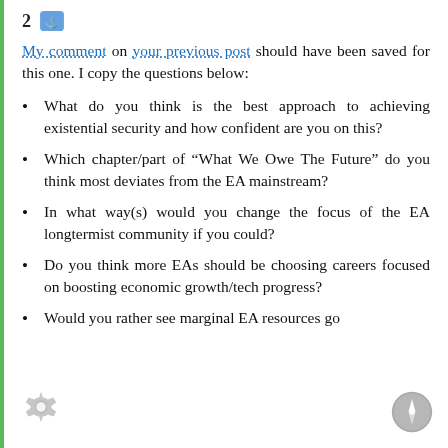2
My comment on your previous post should have been saved for this one. I copy the questions below:
What do you think is the best approach to achieving existential security and how confident are you on this?
Which chapter/part of “What We Owe The Future” do you think most deviates from the EA mainstream?
In what way(s) would you change the focus of the EA longtermist community if you could?
Do you think more EAs should be choosing careers focused on boosting economic growth/tech progress?
Would you rather see marginal EA resources go